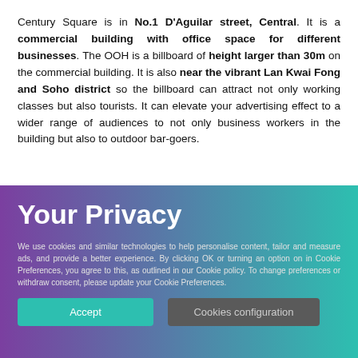Century Square is in No.1 D'Aguilar street, Central. It is a commercial building with office space for different businesses. The OOH is a billboard of height larger than 30m on the commercial building. It is also near the vibrant Lan Kwai Fong and Soho district so the billboard can attract not only working classes but also tourists. It can elevate your advertising effect to a wider range of audiences to not only business workers in the building but also to outdoor bar-goers.
Statistics on Century Square
Century Square has recorded a daily pedestrian flow of more than 100,000, and the average daily traffic flow rate is around
Your Privacy
We use cookies and similar technologies to help personalise content, tailor and measure ads, and provide a better experience. By clicking OK or turning an option on in Cookie Preferences, you agree to this, as outlined in our Cookie policy. To change preferences or withdraw consent, please update your Cookie Preferences.